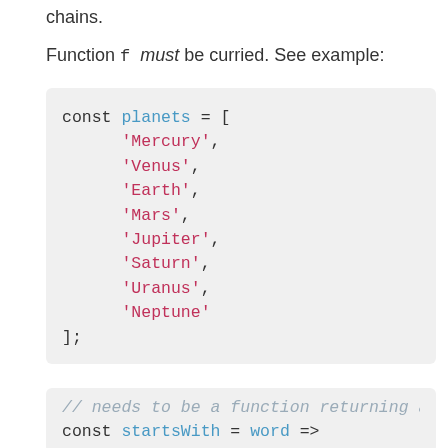chains.
Function f must be curried. See example:
const planets = [
    'Mercury',
    'Venus',
    'Earth',
    'Mars',
    'Jupiter',
    'Saturn',
    'Uranus',
    'Neptune'
];
// needs to be a function returning a
const startsWith = word =>